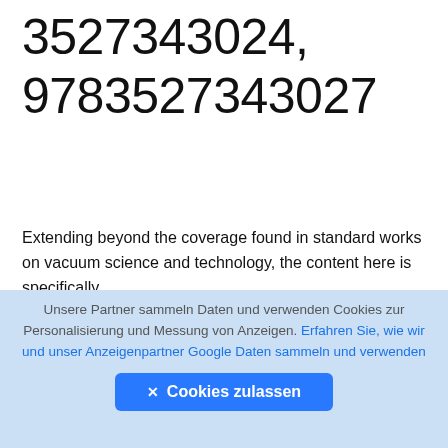3527343024, 9783527343027
Extending beyond the coverage found in standard works on vacuum science and technology, the content here is specifically
👁 578  ⬇ 46  🗋 19MB
English   Pages xxii+524 [547]   Year 2020
🚩 Report DMCA/Copyright
⬆ (upload button)
⬇ DOWNLOAD FILE
Unsere Partner sammeln Daten und verwenden Cookies zur Personalisierung und Messung von Anzeigen. Erfahren Sie, wie wir und unser Anzeigenpartner Google Daten sammeln und verwenden
✕ Cookies zulassen